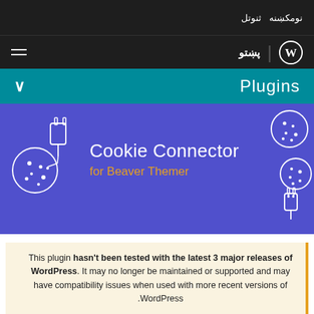نومکښنه ثنوتل
پښتو | WordPress
Plugins
[Figure (illustration): Cookie Connector for Beaver Themer plugin banner with cookie and plug illustrations on purple background]
This plugin hasn't been tested with the latest 3 major releases of WordPress. It may no longer be maintained or supported and may have compatibility issues when used with more recent versions of WordPress.